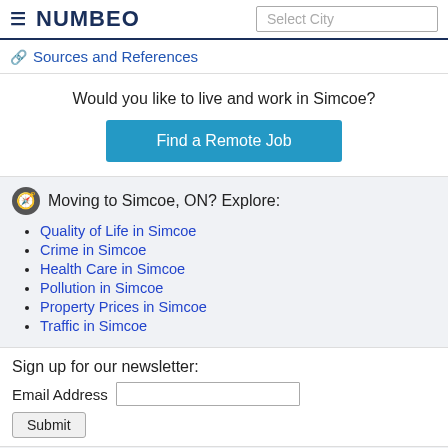NUMBEO | Select City
🔗 Sources and References
Would you like to live and work in Simcoe?
Find a Remote Job
Moving to Simcoe, ON? Explore:
Quality of Life in Simcoe
Crime in Simcoe
Health Care in Simcoe
Pollution in Simcoe
Property Prices in Simcoe
Traffic in Simcoe
Sign up for our newsletter:
Email Address
Submit